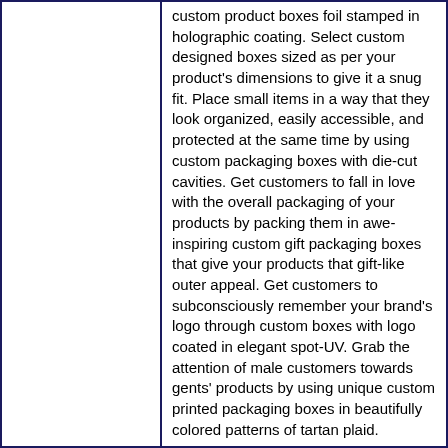custom product boxes foil stamped in holographic coating. Select custom designed boxes sized as per your product's dimensions to give it a snug fit. Place small items in a way that they look organized, easily accessible, and protected at the same time by using custom packaging boxes with die-cut cavities. Get customers to fall in love with the overall packaging of your products by packing them in awe-inspiring custom gift packaging boxes that give your products that gift-like outer appeal. Get customers to subconsciously remember your brand's logo through custom boxes with logo coated in elegant spot-UV. Grab the attention of male customers towards gents' products by using unique custom printed packaging boxes in beautifully colored patterns of tartan plaid.